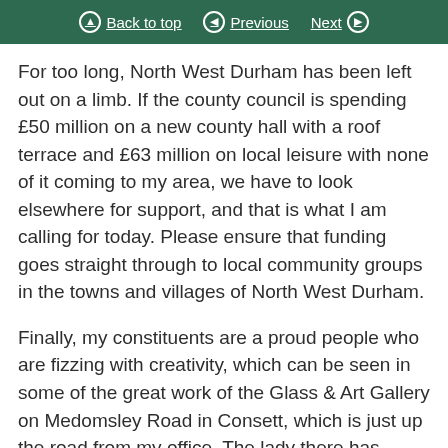Back to top   Previous   Next
For too long, North West Durham has been left out on a limb. If the county council is spending £50 million on a new county hall with a roof terrace and £63 million on local leisure with none of it coming to my area, we have to look elsewhere for support, and that is what I am calling for today. Please ensure that funding goes straight through to local community groups in the towns and villages of North West Durham.
Finally, my constituents are a proud people who are fizzing with creativity, which can be seen in some of the great work of the Glass & Art Gallery on Medomsley Road in Consett, which is just up the road from my office. The lady there has worked on stained glass windows for churches across the